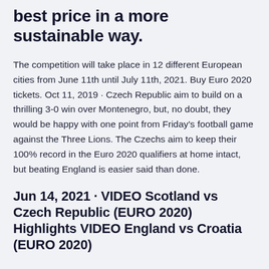best price in a more sustainable way.
The competition will take place in 12 different European cities from June 11th until July 11th, 2021. Buy Euro 2020 tickets. Oct 11, 2019 · Czech Republic aim to build on a thrilling 3-0 win over Montenegro, but, no doubt, they would be happy with one point from Friday's football game against the Three Lions. The Czechs aim to keep their 100% record in the Euro 2020 qualifiers at home intact, but beating England is easier said than done.
Jun 14, 2021 · VIDEO Scotland vs Czech Republic (EURO 2020) Highlights VIDEO England vs Croatia (EURO 2020)